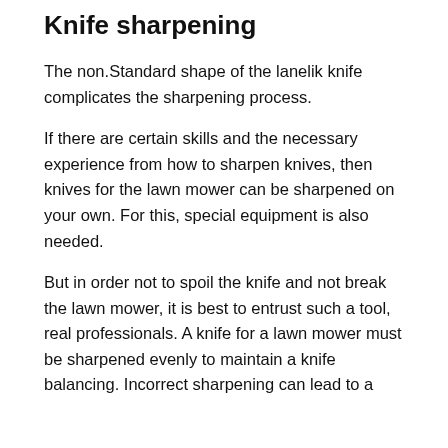Knife sharpening
The non.Standard shape of the lanelik knife complicates the sharpening process.
If there are certain skills and the necessary experience from how to sharpen knives, then knives for the lawn mower can be sharpened on your own. For this, special equipment is also needed.
But in order not to spoil the knife and not break the lawn mower, it is best to entrust such a tool, real professionals. A knife for a lawn mower must be sharpened evenly to maintain a knife balancing. Incorrect sharpening can lead to a [continues]